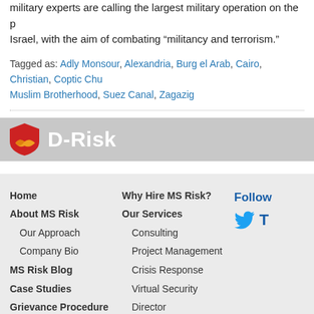military experts are calling the largest military operation on the part of Israel, with the aim of combating “militancy and terrorism.”
Tagged as: Adly Monsour, Alexandria, Burg el Arab, Cairo, Christian, Coptic Chu..., Muslim Brotherhood, Suez Canal, Zagazig
[Figure (logo): D-Risk logo with red shield and yellow wave on grey background bar]
Home
About MS Risk
Our Approach
Company Bio
MS Risk Blog
Case Studies
Grievance Procedure
Why Hire MS Risk?
Our Services
Consulting
Project Management
Crisis Response
Virtual Security Director
Follow
© 2022 MS Risk and the MS Risk wordmark are registered trade-marks of MS Risk Lim...